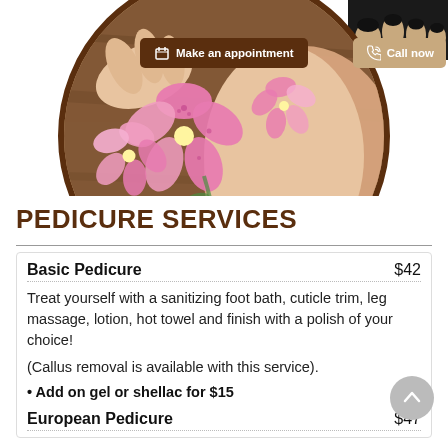[Figure (photo): Circular cropped hero photo of pedicure spa scene with pink orchid flowers, hands applying nail polish, and dark-painted toenails in the upper right corner. Two call-to-action buttons overlay the image: 'Make an appointment' (dark brown) and 'Call now' (tan/gold).]
PEDICURE SERVICES
Basic Pedicure  $42
Treat yourself with a sanitizing foot bath, cuticle trim, leg massage, lotion, hot towel and finish with a polish of your choice!
(Callus removal is available with this service).
• Add on gel or shellac for $15
European Pedicure  $47